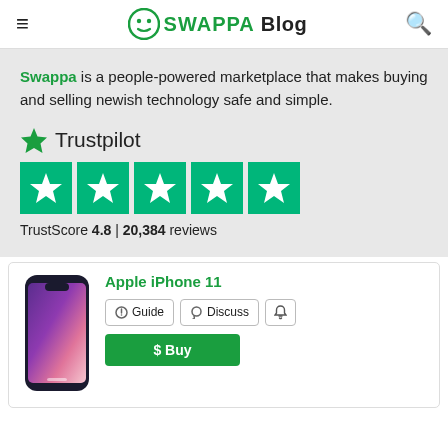≡  ⊙ SWAPPA Blog  🔍
Swappa is a people-powered marketplace that makes buying and selling newish technology safe and simple.
[Figure (logo): Trustpilot logo with green star and text 'Trustpilot', followed by five green star rating boxes, and text 'TrustScore 4.8 | 20,384 reviews']
[Figure (photo): Apple iPhone 11 product image with purple gradient back]
Apple iPhone 11
Guide  Discuss  🔔  $ Buy